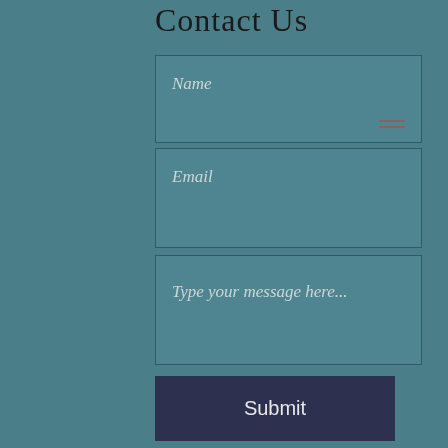Contact Us
Name
Email
Type your message here...
Submit
[Figure (infographic): Social media icons: Facebook, Twitter, YouTube, Instagram]
Email: susan@magnificentcreations.com
Phone Number: 416-708-6232